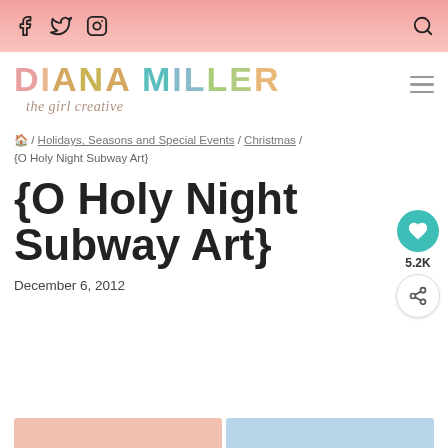Social media icons (Facebook, Twitter, Instagram) and search icon
[Figure (logo): Diana Miller - the girl creative logo with colorful letters and cursive subtitle]
/ Holidays, Seasons and Special Events / Christmas / {O Holy Night Subway Art}
{O Holy Night Subway Art}
December 6, 2012
[Figure (other): Social share widget with heart button showing 5.2K and share button]
[Figure (photo): Bottom image strip preview thumbnails]